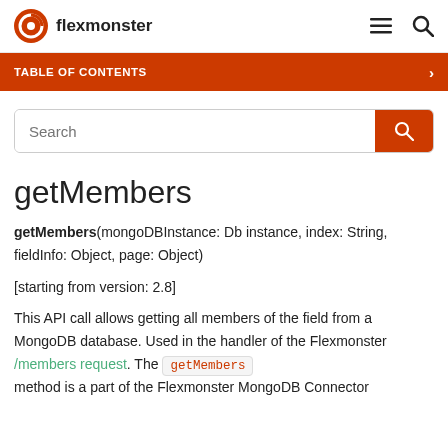flexmonster
TABLE OF CONTENTS
Search
getMembers
getMembers(mongoDBInstance: Db instance, index: String, fieldInfo: Object, page: Object)
[starting from version: 2.8]
This API call allows getting all members of the field from a MongoDB database. Used in the handler of the Flexmonster /members request. The getMembers method is a part of the Flexmonster MongoDB Connector